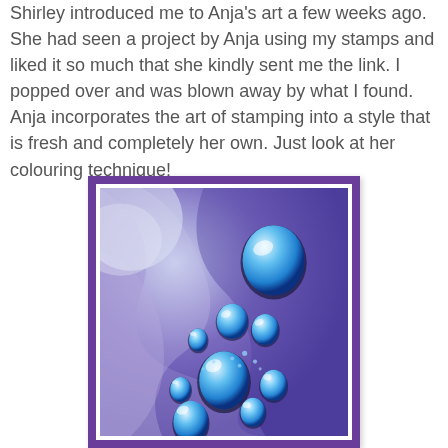Shirley introduced me to Anja's art a few weeks ago. She had seen a project by Anja using my stamps and liked it so much that she kindly sent me the link. I popped over and was blown away by what I found. Anja incorporates the art of stamping into a style that is fresh and completely her own. Just look at her colouring technique!
[Figure (illustration): A decorative artwork card with purple border showing blue water droplets of various sizes arranged on a purple and blue swirling abstract background. The droplets appear glossy and three-dimensional, rendered in a vibrant digital art or coloring style.]